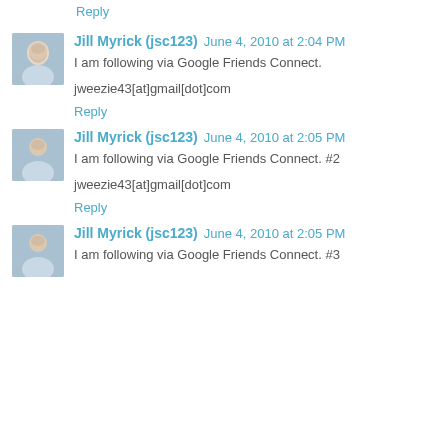Reply
Jill Myrick (jsc123)  June 4, 2010 at 2:04 PM
I am following via Google Friends Connect.
jweezie43[at]gmail[dot]com
Reply
Jill Myrick (jsc123)  June 4, 2010 at 2:05 PM
I am following via Google Friends Connect. #2
jweezie43[at]gmail[dot]com
Reply
Jill Myrick (jsc123)  June 4, 2010 at 2:05 PM
I am following via Google Friends Connect. #3